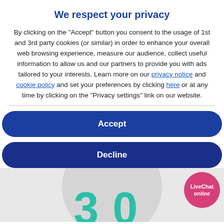We respect your privacy
By clicking on the "Accept" button you consent to the usage of 1st and 3rd party cookies (or similar) in order to enhance your overall web browsing experience, measure our audience, collect useful information to allow us and our partners to provide you with ads tailored to your interests. Learn more on our privacy notice and cookie policy and set your preferences by clicking here or at any time by clicking on the "Privacy settings" link on our website.
Accept
Decline
[Figure (other): Bottom section showing large teal '3' numeral and partial '0' numeral on a grey circular background, with a pink 'LiveChat online' button in the top right corner]